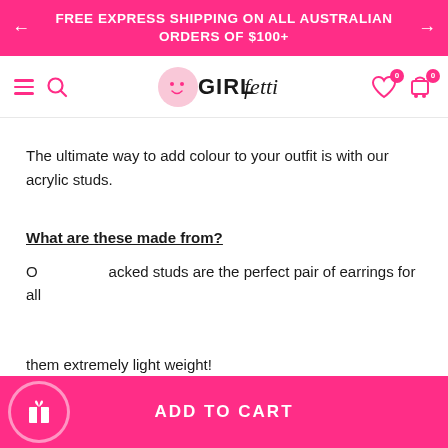FREE EXPRESS SHIPPING ON ALL AUSTRALIAN ORDERS OF $100+
[Figure (logo): Girlfetti logo with pink heart face icon and stylized text]
The ultimate way to add colour to your outfit is with our acrylic studs.
What are these made from?
Our colour packed studs are the perfect pair of earrings for all them extremely light weight!
ADD TO CART